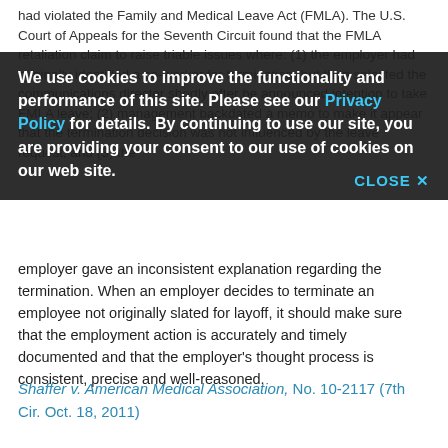had violated the Family and Medical Leave Act (FMLA). The U.S. Court of Appeals for the Seventh Circuit found that the FMLA retaliation claim to raise triable issues where: (1) the employer had originally identified a co-worker for termination, but then selected the communications director shortly after he announced intention to take FMLA leave; (2) management backdated a memo to make it appear that the termination decision was not influenced by the leave request; and (3) the employer gave an inconsistent explanation regarding the termination. When an employer decides to terminate an employee not originally slated for layoff, it should make sure that the employment action is accurately and timely documented and that the employer's thought process is consistent, precise and well-reasoned.
We use cookies to improve the functionality and performance of this site. Please see our Privacy Policy for details. By continuing to use our site, you are providing your consent to our use of cookies on our web site.
Shaffer v. American Medical Association, No. 10-2117 (7th Cir. Oct. 18, 2011)